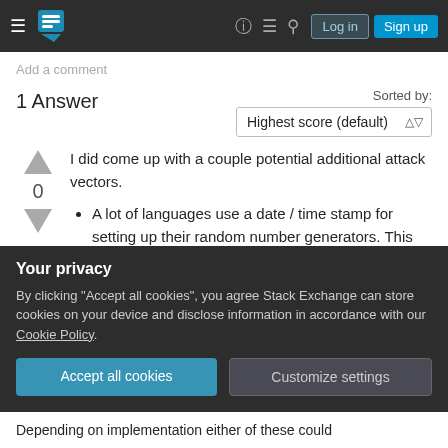Stack Exchange navigation bar with Log in and Sign up buttons
Add a comment
1 Answer
Sorted by: Highest score (default)
I did come up with a couple potential additional attack vectors.
A lot of languages use a date / time stamp for setting up their random number generators. This results in getting the same 'random'
Your privacy
By clicking "Accept all cookies", you agree Stack Exchange can store cookies on your device and disclose information in accordance with our Cookie Policy.
Accept all cookies
Customize settings
Depending on implementation either of these could